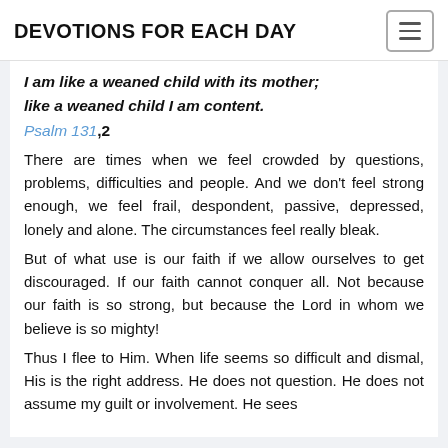DEVOTIONS FOR EACH DAY
I am like a weaned child with its mother; like a weaned child I am content.
Psalm 131,2
There are times when we feel crowded by questions, problems, difficulties and people. And we don't feel strong enough, we feel frail, despondent, passive, depressed, lonely and alone. The circumstances feel really bleak.
But of what use is our faith if we allow ourselves to get discouraged. If our faith cannot conquer all. Not because our faith is so strong, but because the Lord in whom we believe is so mighty!
Thus I flee to Him. When life seems so difficult and dismal, His is the right address. He does not question. He does not assume my guilt or involvement. He sees